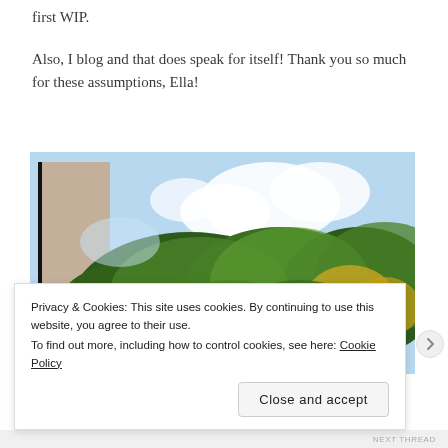first WIP.
Also, I blog and that does speak for itself! Thank you so much for these assumptions, Ella!
[Figure (photo): Outdoor photo showing green trees with yellow flowers against a blue sky with white clouds, and the corner of a beige building on the left side. A dark vertical line/bar is visible on the left edge of the image.]
Privacy & Cookies: This site uses cookies. By continuing to use this website, you agree to their use.
To find out more, including how to control cookies, see here: Cookie Policy
Close and accept